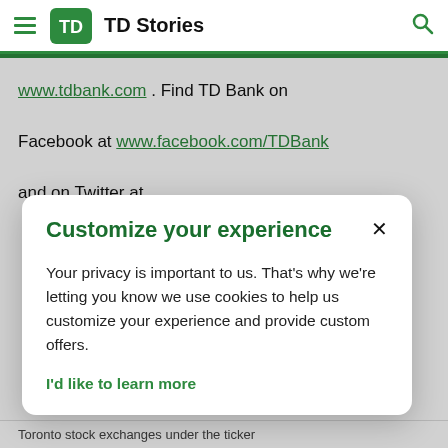TD Stories
www.tdbank.com . Find TD Bank on Facebook at www.facebook.com/TDBank and on Twitter at
Customize your experience
Your privacy is important to us. That's why we're letting you know we use cookies to help us customize your experience and provide custom offers.
I'd like to learn more
Toronto stock exchanges under the ticker